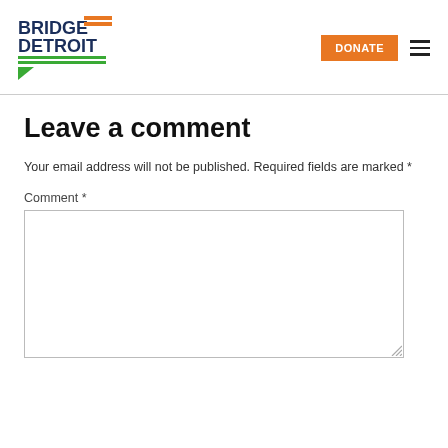[Figure (logo): Bridge Detroit logo with green and orange horizontal lines and speech bubble]
Leave a comment
Your email address will not be published. Required fields are marked *
Comment *
[Figure (screenshot): Comment text area input box]